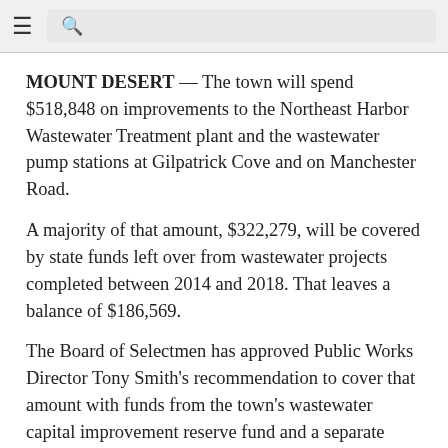≡  🔍
MOUNT DESERT — The town will spend $518,848 on improvements to the Northeast Harbor Wastewater Treatment plant and the wastewater pump stations at Gilpatrick Cove and on Manchester Road.
A majority of that amount, $322,279, will be covered by state funds left over from wastewater projects completed between 2014 and 2018. That leaves a balance of $186,569.
The Board of Selectmen has approved Public Works Director Tony Smith's recommendation to cover that amount with funds from the town's wastewater capital improvement reserve fund and a separate sewer and pump stations capital account. So, no new tax money will be needed.
Smith said in a July 27 memo to Town Manager Durlin Lunt that he had solicited bids from four contractors